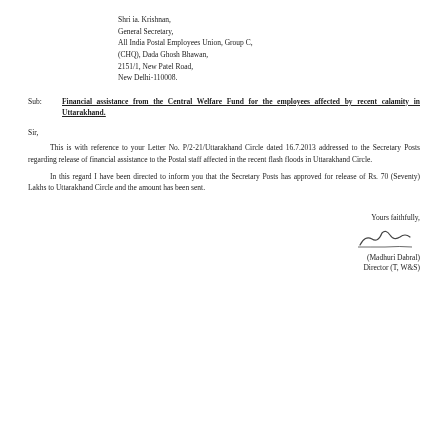Shri ia. Krishnan,
General Secretary,
All India Postal Employees Union, Group C,
(CHQ), Dada Ghosh Bhawan,
2151/1, New Patel Road,
New Delhi-110008.
Sub: Financial assistance from the Central Welfare Fund for the employees affected by recent calamity in Uttarakhand.
Sir,
This is with reference to your Letter No. P/2-21/Uttarakhand Circle dated 16.7.2013 addressed to the Secretary Posts regarding release of financial assistance to the Postal staff affected in the recent flash floods in Uttarakhand Circle.
In this regard I have been directed to inform you that the Secretary Posts has approved for release of Rs. 70 (Seventy) Lakhs to Uttarakhand Circle and the amount has been sent.
Yours faithfully,
(Madhuri Dabral)
Director (T, W&S)